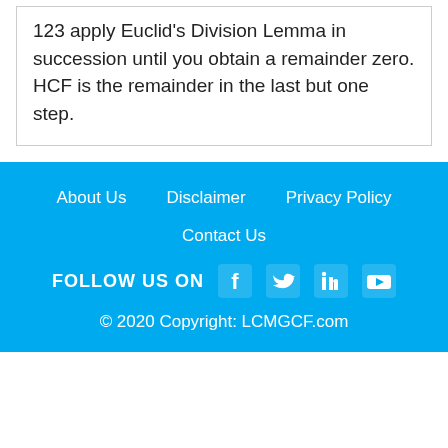123 apply Euclid's Division Lemma in succession until you obtain a remainder zero. HCF is the remainder in the last but one step.
About Us | Disclaimer | Privacy Policy | Contact Us | FOLLOW US ON [social icons] © 2020 Copyright: LCMGCF.com